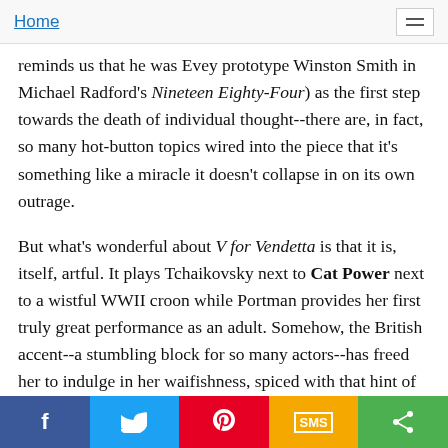Home
reminds us that he was Evey prototype Winston Smith in Michael Radford's Nineteen Eighty-Four) as the first step towards the death of individual thought--there are, in fact, so many hot-button topics wired into the piece that it's something like a miracle it doesn't collapse in on its own outrage.
But what's wonderful about V for Vendetta is that it is, itself, artful. It plays Tchaikovsky next to Cat Power next to a wistful WWII croon while Portman provides her first truly great performance as an adult. Somehow, the British accent--a stumbling block for so many actors--has freed her to indulge in her waifishness, spiced with that hint of resolve that made her child-actor turn in Leon: The Professional ever so tantalizing a(n unfulfilled) promise. By never allowing its hero a face, and by further obscuring him behind a storm of gilded words, V becomes as slippery a signifier as Thomas Pynchon's Zelia
f  twitter  pinterest  SMS  share